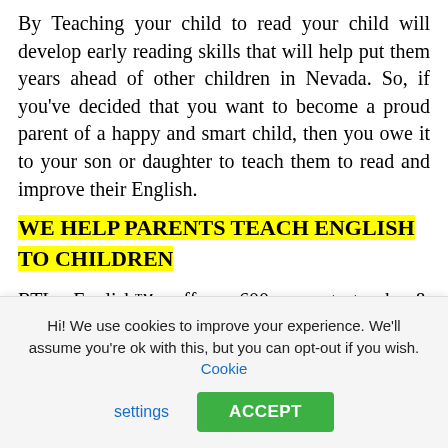By Teaching your child to read your child will develop early reading skills that will help put them years ahead of other children in Nevada. So, if you've decided that you want to become a proud parent of a happy and smart child, then you owe it to your son or daughter to teach them to read and improve their English.
WE HELP PARENTS TEACH ENGLISH TO CHILDREN
RTL English™ offers 600 easy-to-teach & downloadable English lessons for parents to teach to their child at home. Our lesson workbooks will
Hi! We use cookies to improve your experience. We'll assume you're ok with this, but you can opt-out if you wish.